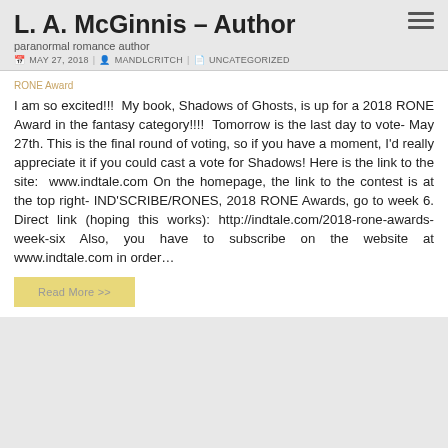L. A. McGinnis – Author
paranormal romance author
MAY 27, 2018  MANDLCRITCH  UNCATEGORIZED
RONE Award
I am so excited!!!  My book, Shadows of Ghosts, is up for a 2018 RONE Award in the fantasy category!!!!  Tomorrow is the last day to vote- May 27th. This is the final round of voting, so if you have a moment, I'd really appreciate it if you could cast a vote for Shadows! Here is the link to the site:  www.indtale.com On the homepage, the link to the contest is at the top right- IND'SCRIBE/RONES, 2018 RONE Awards, go to week 6. Direct link (hoping this works): http://indtale.com/2018-rone-awards-week-six Also, you have to subscribe on the website at www.indtale.com in order...
Read More >>